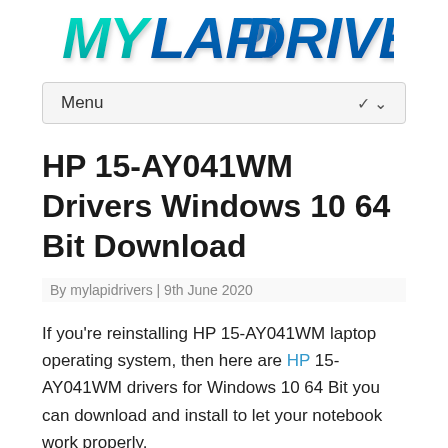[Figure (logo): MyLapiDrivers logo with teal/cyan and blue gradient text on white background]
Menu
HP 15-AY041WM Drivers Windows 10 64 Bit Download
By mylapidrivers | 9th June 2020
If you're reinstalling HP 15-AY041WM laptop operating system, then here are HP 15-AY041WM drivers for Windows 10 64 Bit you can download and install to let your notebook work properly.